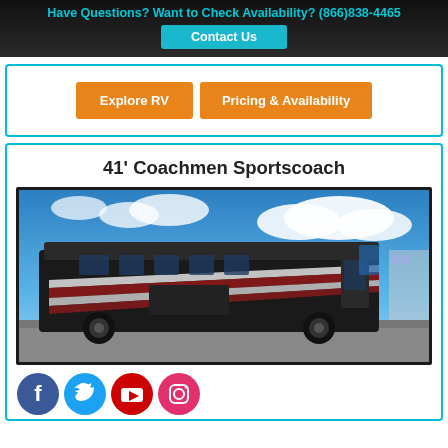Have Questions? Want to Check Availability? (866)838-4465
Contact Us
Explore RV | Pricing & Availability
41' Coachmen Sportscoach
[Figure (photo): Photo of a 41-foot Coachmen Sportscoach Class A motorhome parked outdoors under a partly cloudy blue sky. The RV has a dark body with silver, red, and white accent stripes.]
Social media icons: Facebook, Twitter, YouTube, Instagram